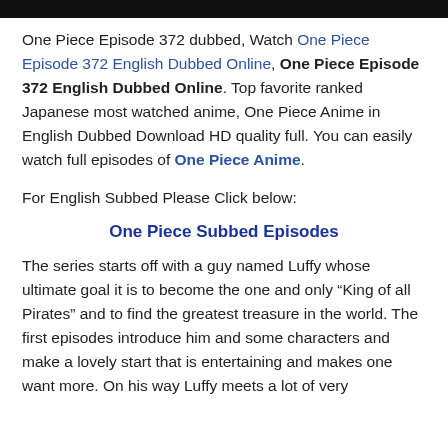[Figure (other): Black horizontal bar at the top of the page]
One Piece Episode 372 dubbed, Watch One Piece Episode 372 English Dubbed Online, One Piece Episode 372 English Dubbed Online. Top favorite ranked Japanese most watched anime, One Piece Anime in English Dubbed Download HD quality full. You can easily watch full episodes of One Piece Anime.
For English Subbed Please Click below:
One Piece Subbed Episodes
The series starts off with a guy named Luffy whose ultimate goal it is to become the one and only “King of all Pirates” and to find the greatest treasure in the world. The first episodes introduce him and some characters and make a lovely start that is entertaining and makes one want more. On his way Luffy meets a lot of very